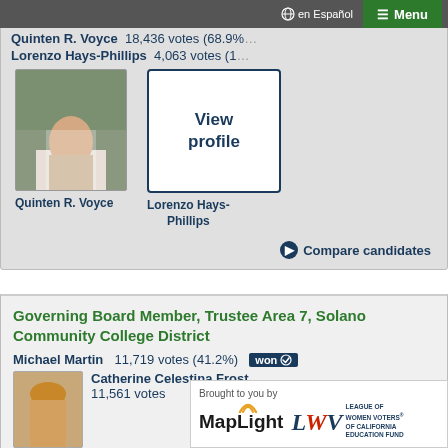en Español  ☰ Menu
Quinten R. Voyce  18,436 votes (68.9%)
Lorenzo Hays-Phillips  4,063 votes (15...)
[Figure (photo): Photo of Quinten R. Voyce candidate]
Quinten R. Voyce
View profile
Lorenzo Hays-Phillips
Compare candidates
Governing Board Member, Trustee Area 7, Solano Community College District
Michael Martin  11,719 votes (41.2%)  won
Catherine Celestina Frost
11,561 votes
[Figure (photo): Photo of Catherine Celestina Frost candidate]
Brought to you by MapLight and League of Women Voters of California Education Fund